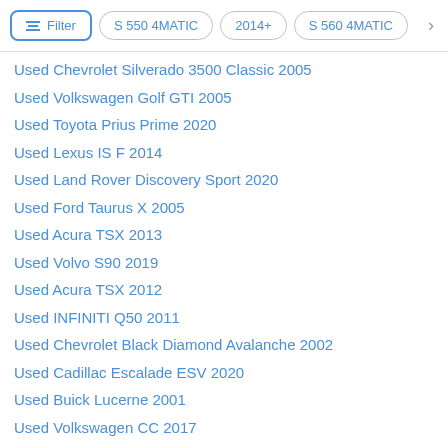Filter | S 550 4MATIC | 2014+ | S 560 4MATIC
Used Chevrolet Silverado 3500 Classic 2005
Used Volkswagen Golf GTI 2005
Used Toyota Prius Prime 2020
Used Lexus IS F 2014
Used Land Rover Discovery Sport 2020
Used Ford Taurus X 2005
Used Acura TSX 2013
Used Volvo S90 2019
Used Acura TSX 2012
Used INFINITI Q50 2011
Used Chevrolet Black Diamond Avalanche 2002
Used Cadillac Escalade ESV 2020
Used Buick Lucerne 2001
Used Volkswagen CC 2017
Shop used vehicles by model